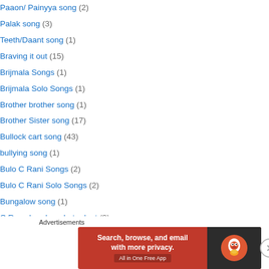Paaon/ Painyya song (2)
Palak song (3)
Teeth/Daant song (1)
Braving it out (15)
Brijmala Songs (1)
Brijmala Solo Songs (1)
Brother brother song (1)
Brother Sister song (17)
Bullock cart song (43)
bullying song (1)
Bulo C Rani Songs (2)
Bulo C Rani Solo Songs (2)
Bungalow song (1)
C Ramchandra – Lata duet (2)
C Ramchandra songs as a singer (149)
C Ramchandra solo songs as a singer (24)
[Figure (other): DuckDuckGo advertisement banner: Search, browse, and email with more privacy. All in One Free App]